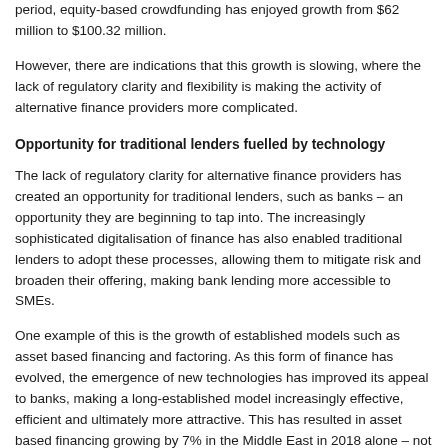period, equity-based crowdfunding has enjoyed growth from $62 million to $100.32 million.
However, there are indications that this growth is slowing, where the lack of regulatory clarity and flexibility is making the activity of alternative finance providers more complicated.
Opportunity for traditional lenders fuelled by technology
The lack of regulatory clarity for alternative finance providers has created an opportunity for traditional lenders, such as banks – an opportunity they are beginning to tap into. The increasingly sophisticated digitalisation of finance has also enabled traditional lenders to adopt these processes, allowing them to mitigate risk and broaden their offering, making bank lending more accessible to SMEs.
One example of this is the growth of established models such as asset based financing and factoring. As this form of finance has evolved, the emergence of new technologies has improved its appeal to banks, making a long-established model increasingly effective, efficient and ultimately more attractive. This has resulted in asset based financing growing by 7% in the Middle East in 2018 alone – not far behind the global figure of 9%.
The increased take-up of such technologies by banks means that they can now not only compete with alternative finance providers to provide modern financing to SMEs, but they can also partner with these providers to evolve their offering even further.